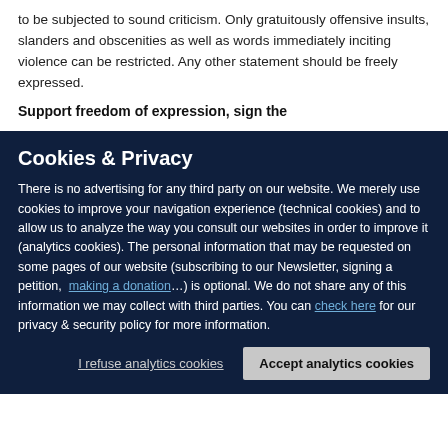to be subjected to sound criticism. Only gratuitously offensive insults, slanders and obscenities as well as words immediately inciting violence can be restricted. Any other statement should be freely expressed.
Support freedom of expression, sign the
Cookies & Privacy
There is no advertising for any third party on our website. We merely use cookies to improve your navigation experience (technical cookies) and to allow us to analyze the way you consult our websites in order to improve it (analytics cookies). The personal information that may be requested on some pages of our website (subscribing to our Newsletter, signing a petition, making a donation…) is optional. We do not share any of this information we may collect with third parties. You can check here for our privacy & security policy for more information.
I refuse analytics cookies | Accept analytics cookies